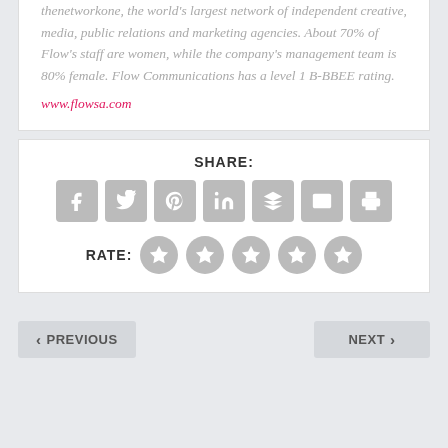thenetworkone, the world's largest network of independent creative, media, public relations and marketing agencies. About 70% of Flow's staff are women, while the company's management team is 80% female. Flow Communications has a level 1 B-BBEE rating. www.flowsa.com
SHARE:
[Figure (infographic): Seven social share/action icon buttons in rounded gray squares: Facebook, Twitter, Pinterest, LinkedIn, Buffer/layers, Email, Print]
RATE:
[Figure (infographic): Five star rating circles in gray]
< PREVIOUS
NEXT >